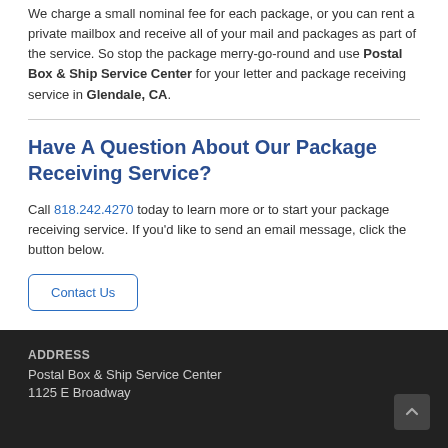We charge a small nominal fee for each package, or you can rent a private mailbox and receive all of your mail and packages as part of the service. So stop the package merry-go-round and use Postal Box & Ship Service Center for your letter and package receiving service in Glendale, CA.
Have A Question About Our Package Receiving Service?
Call 818.242.4270 today to learn more or to start your package receiving service. If you'd like to send an email message, click the button below.
Contact Us
ADDRESS
Postal Box & Ship Service Center
1125 E Broadway